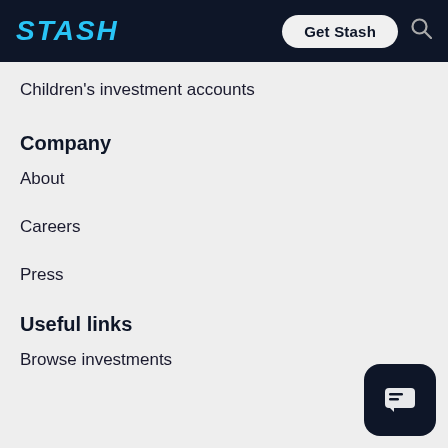STASH  Get Stash
Children's investment accounts
Company
About
Careers
Press
Useful links
Browse investments